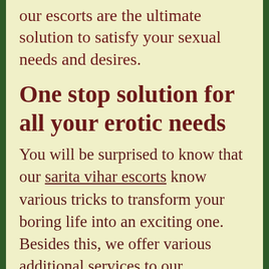our escorts are the ultimate solution to satisfy your sexual needs and desires.
One stop solution for all your erotic needs
You will be surprised to know that our sarita vihar escorts know various tricks to transform your boring life into an exciting one. Besides this, we offer various additional services to our customers so that they can find this deal a profitable one. These services are: